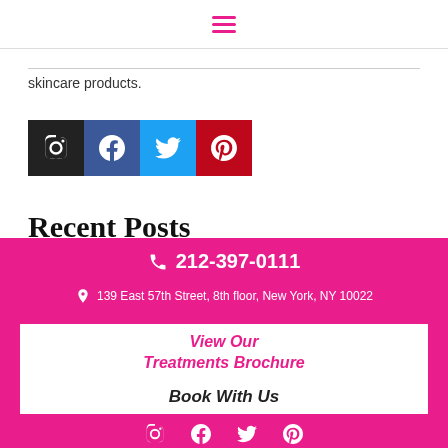Navigation menu (hamburger icon)
skincare products.
[Figure (other): Social media icons: Instagram (black), Facebook (blue), Twitter (light blue), Pinterest (red)]
Recent Posts
[Figure (photo): Photo of a face with pink dots indicating facelift injection points]
8 Point Liquid Facelift for Skin Sagging and Volume Loss
212-397-0111
139 East 57th Street, 8th floor, New York, NY 10022
View Our Treatments Brochure
Book With Us
Social media icons: Instagram, Facebook, Twitter, Pinterest